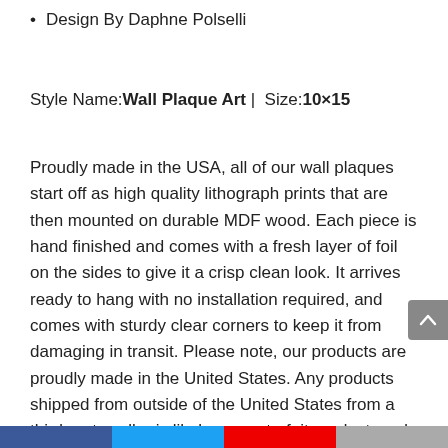Design By Daphne Polselli
Style Name: Wall Plaque Art |  Size: 10×15
Proudly made in the USA, all of our wall plaques start off as high quality lithograph prints that are then mounted on durable MDF wood. Each piece is hand finished and comes with a fresh layer of foil on the sides to give it a crisp clean look. It arrives ready to hang with no installation required, and comes with sturdy clear corners to keep it from damaging in transit. Please note, our products are proudly made in the United States. Any products shipped from outside of the United States from a third party seller is likely a counterfeit product, and may result in an undesirable